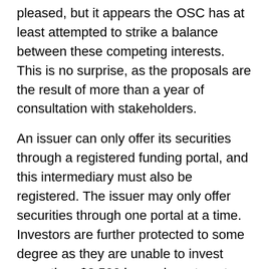pleased, but it appears the OSC has at least attempted to strike a balance between these competing interests. This is no surprise, as the proposals are the result of more than a year of consultation with stakeholders.
An issuer can only offer its securities through a registered funding portal, and this intermediary must also be registered. The issuer may only offer securities through one portal at a time. Investors are further protected to some degree as they are unable to invest more than $2,500 in one investment and no more than $10,000 in one calendar year. There is also a 48 hour cooling-off period. Additionally, the issuer, its directors, and the portal cannot finance the purchase by an investor. Management must also certify the offering.
Both reporting and non-reporting issuers can avail themselves of the crowdfunding exemption. Blind pools, investment funds and real estate issuers cannot. The proposed $1.5 million limit on what can be raised is in